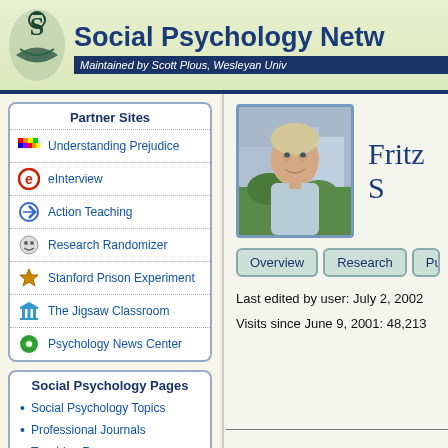Social Psychology Netw
Maintained by Scott Plous, Wesleyan Univ
Partner Sites
Understanding Prejudice
eInterview
Action Teaching
Research Randomizer
Stanford Prison Experiment
The Jigsaw Classroom
Psychology News Center
Social Psychology Pages
Social Psychology Topics
Professional Journals
Teaching Resources
[Figure (photo): Profile photo of Fritz S, a middle-aged man with blonde/gray hair, smiling, outdoors with buildings in background]
Fritz S
Overview | Research | Publi
Last edited by user: July 2, 2002
Visits since June 9, 2001: 48,213